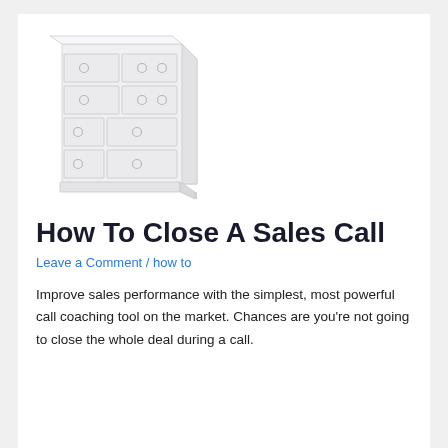[Figure (illustration): A light gray/white illustration of a wooden dresser with multiple drawers and circular knob handles, rendered in a very pale, almost monochrome style.]
How To Close A Sales Call
Leave a Comment / how to
Improve sales performance with the simplest, most powerful call coaching tool on the market. Chances are you're not going to close the whole deal during a call.